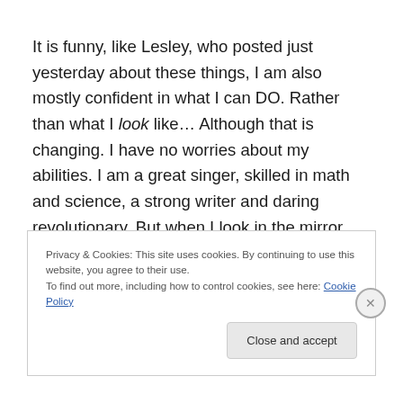It is funny, like Lesley, who posted just yesterday about these things, I am also mostly confident in what I can DO. Rather than what I look like… Although that is changing. I have no worries about my abilities. I am a great singer, skilled in math and science, a strong writer and daring revolutionary. But when I look in the mirror, sometimes I am slightly disappointed. But the Universe will provide, assuming you are willing to listen. It has been a few weeks
Privacy & Cookies: This site uses cookies. By continuing to use this website, you agree to their use.
To find out more, including how to control cookies, see here: Cookie Policy